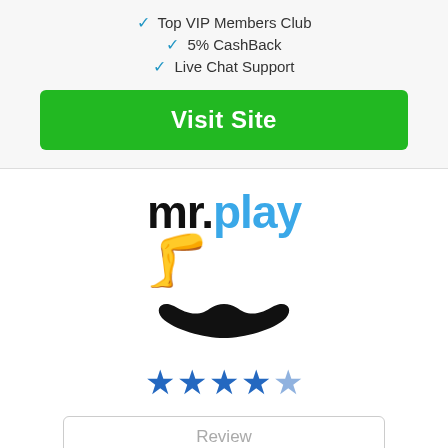✓ Top VIP Members Club
✓ 5% CashBack
✓ Live Chat Support
Visit Site
[Figure (logo): mr. play logo with mustache illustration]
[Figure (other): 4.5 out of 5 stars rating]
Review
100% UP TO £200
✓ +100 Free Spins